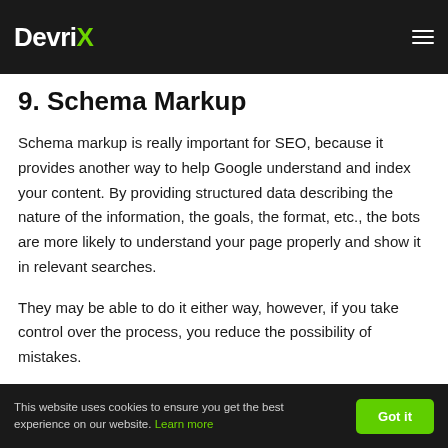DevriX
9. Schema Markup
Schema markup is really important for SEO, because it provides another way to help Google understand and index your content. By providing structured data describing the nature of the information, the goals, the format, etc., the bots are more likely to understand your page properly and show it in relevant searches.
They may be able to do it either way, however, if you take control over the process, you reduce the possibility of mistakes.
For the most part, structured data makes your content digitally...
This website uses cookies to ensure you get the best experience on our website. Learn more  Got it